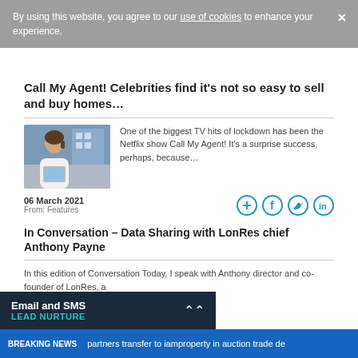By using this website, you agree to our use of cookies to enhance your experience.
Call My Agent! Celebrities find it’s not so easy to sell and buy homes…
[Figure (photo): Woman on phone holding a tablet, smiling, outdoors]
One of the biggest TV hits of lockdown has been the Netflix show Call My Agent! It’s a surprise success, perhaps, because…
06 March 2021
From: Features
[Figure (infographic): Social share icons: add/share, Facebook, Twitter, LinkedIn]
In Conversation – Data Sharing with LonRes chief Anthony Payne
In this edition of Conversation Today, I speak with Anthony director and co-founder of LonRes, a
Email and SMS
LEAD NURTURE
BREAKING NEWS partners transfer to iamproperty in auction trade de